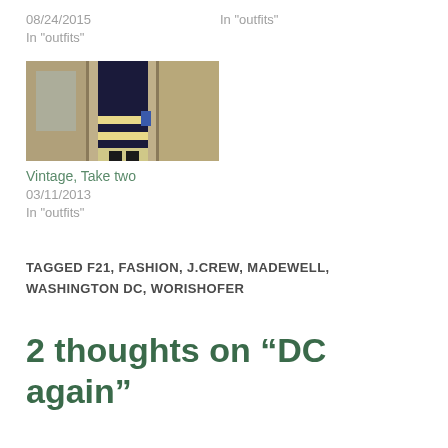08/24/2015
In "outfits"
In "outfits"
[Figure (photo): A person wearing a navy blue jacket and striped skirt, standing in front of wooden doors/lockers]
Vintage, Take two
03/11/2013
In "outfits"
TAGGED F21, FASHION, J.CREW, MADEWELL, WASHINGTON DC, WORISHOFER
2 thoughts on “DC again”